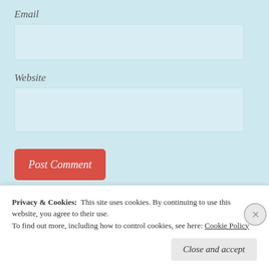Email
Website
Post Comment
Notify me of new comments via email.
N...
Privacy & Cookies:  This site uses cookies. By continuing to use this website, you agree to their use.
To find out more, including how to control cookies, see here: Cookie Policy
Close and accept